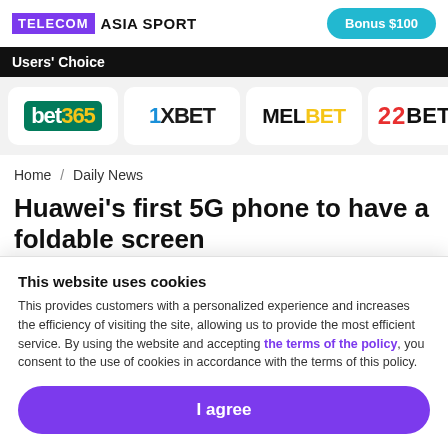TELECOM ASIA SPORT | Bonus $100
Users' Choice
[Figure (logo): Bookmaker logos row: bet365, 1XBET, MELBET, 22BET]
Home / Daily News
Huawei's first 5G phone to have a foldable screen
Dylan Bushell-Embling
This website uses cookies
This provides customers with a personalized experience and increases the efficiency of visiting the site, allowing us to provide the most efficient service. By using the website and accepting the terms of the policy, you consent to the use of cookies in accordance with the terms of this policy.
I agree